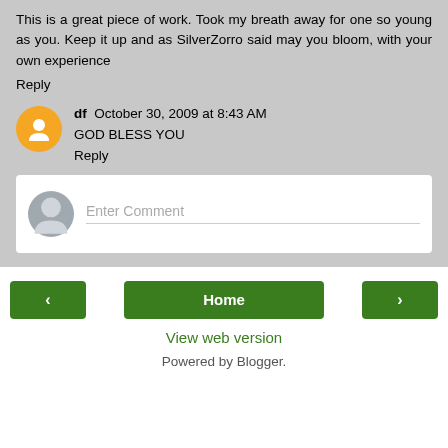This is a great piece of work. Took my breath away for one so young as you. Keep it up and as SilverZorro said may you bloom, with your own experience
Reply
df  October 30, 2009 at 8:43 AM
GOD BLESS YOU
Reply
Enter Comment
Home
View web version
Powered by Blogger.